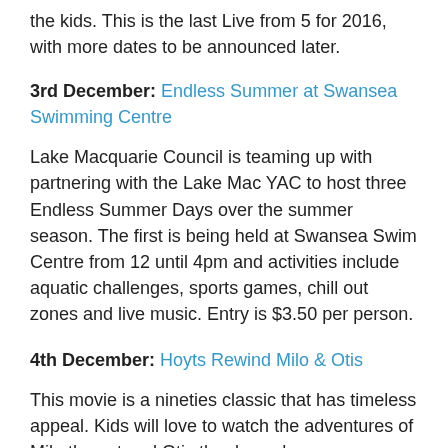the kids. This is the last Live from 5 for 2016, with more dates to be announced later.
3rd December: Endless Summer at Swansea Swimming Centre
Lake Macquarie Council is teaming up with partnering with the Lake Mac YAC to host three Endless Summer Days over the summer season. The first is being held at Swansea Swim Centre from 12 until 4pm and activities include aquatic challenges, sports games, chill out zones and live music. Entry is $3.50 per person.
4th December: Hoyts Rewind Milo & Otis
This movie is a nineties classic that has timeless appeal. Kids will love to watch the adventures of Milo the cat and Otis the dog, who grew up together on the same farm, and how they find one another after being separated. The session starts at 2pm at Hoyts Erina and